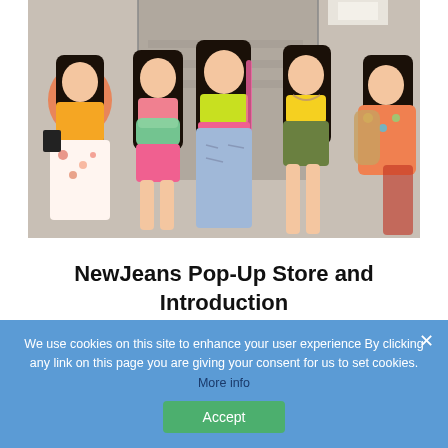[Figure (photo): Group photo of five young women (K-pop group NewJeans) posing together on stairs, wearing colorful summer outfits]
NewJeans Pop-Up Store and Introduction
We use cookies on this site to enhance your user experience By clicking any link on this page you are giving your consent for us to set cookies. More info
Accept